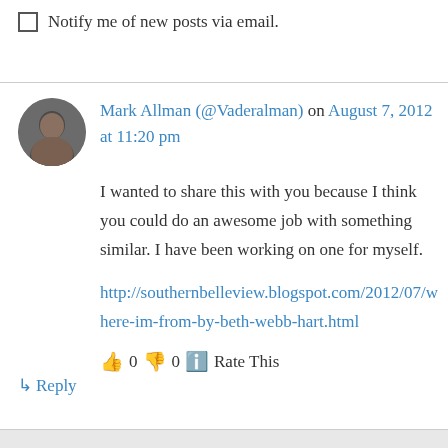Notify me of new posts via email.
Mark Allman (@Vaderalman) on August 7, 2012 at 11:20 pm
I wanted to share this with you because I think you could do an awesome job with something similar. I have been working on one for myself.
http://southernbelleview.blogspot.com/2012/07/where-im-from-by-beth-webb-hart.html
👍 0 👎 0 ℹ Rate This
↳ Reply